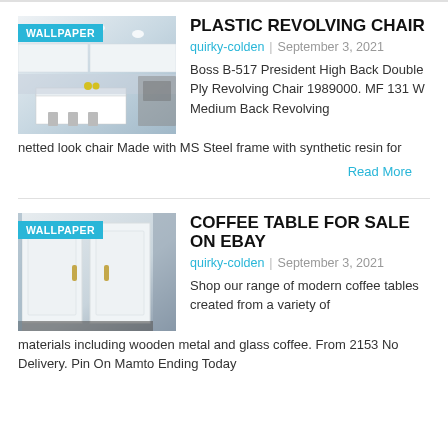PLASTIC REVOLVING CHAIR
quirky-colden | September 3, 2021
Boss B-517 President High Back Double Ply Revolving Chair 1989000. MF 131 W Medium Back Revolving netted look chair Made with MS Steel frame with synthetic resin for
Read More
COFFEE TABLE FOR SALE ON EBAY
quirky-colden | September 3, 2021
Shop our range of modern coffee tables created from a variety of materials including wooden metal and glass coffee. From 2153 No Delivery. Pin On Mamto Ending Today